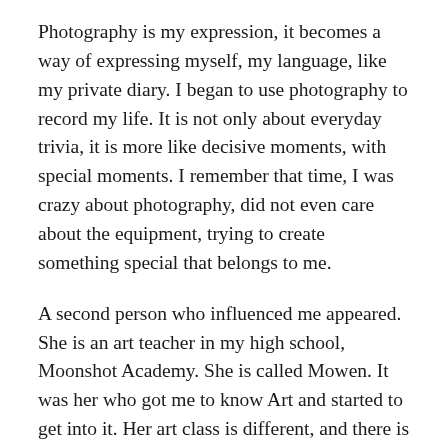Photography is my expression, it becomes a way of expressing myself, my language, like my private diary. I began to use photography to record my life. It is not only about everyday trivia, it is more like decisive moments, with special moments. I remember that time, I was crazy about photography, did not even care about the equipment, trying to create something special that belongs to me.
A second person who influenced me appeared. She is an art teacher in my high school, Moonshot Academy. She is called Mowen. It was her who got me to know Art and started to get into it. Her art class is different, and there is no traditional idea, but open-mindness and courage to experiment. I took my photographs, and although they weren't very professional, they were recognized by her and she supported me to keep experimenting. I started trying to create artistically, like a secondary painting on a photo, which became an expression that was deeply personal.